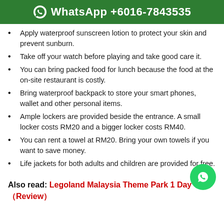WhatsApp +6016-7843535
Apply waterproof sunscreen lotion to protect your skin and prevent sunburn.
Take off your watch before playing and take good care it.
You can bring packed food for lunch because the food at the on-site restaurant is costly.
Bring waterproof backpack to store your smart phones, wallet and other personal items.
Ample lockers are provided beside the entrance. A small locker costs RM20 and a bigger locker costs RM40.
You can rent a towel at RM20. Bring your own towels if you want to save money.
Life jackets for both adults and children are provided for free.
Also read: Legoland Malaysia Theme Park 1 Day Trip (Review)